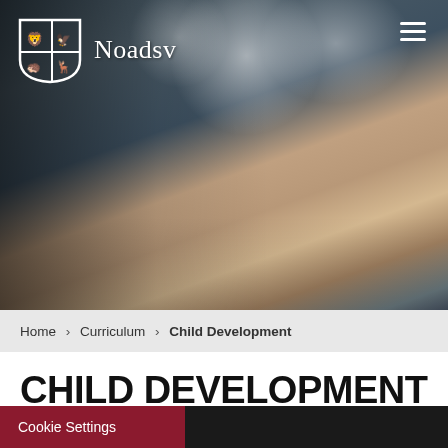[Figure (photo): School children working at desks; a child with short brown hair is writing with a pen in the foreground, another child visible in the background. The image has bokeh light effects in the upper area.]
Noadsv
Home › Curriculum › Child Development
CHILD DEVELOPMENT
Cookie Settings